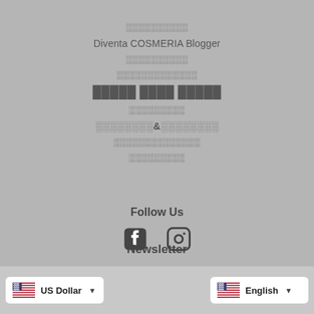░░░░░░░░░░
Diventa COSMERIA Blogger
░░░░░░░░░░
░░░░░░░░░░░░░
█████ ████ █████
░░░░░░░░░
░░░░░░░░░&░░░░░░░░
░░░░░░░░░░░░░░
░░░░░░░░░
Follow Us
[Figure (infographic): Facebook and Instagram social media icons]
Newsletter
US Dollar
English